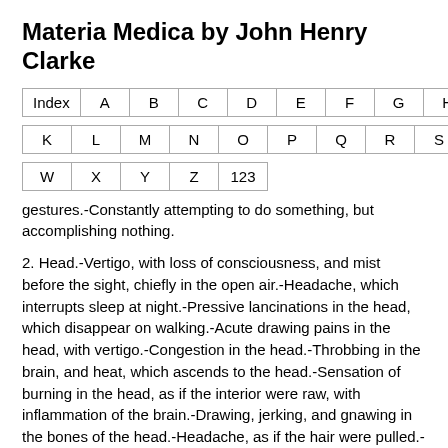Materia Medica by John Henry Clarke
| Index | A | B | C | D | E | F | G | H | I | J |
| K | L | M | N | O | P | Q | R | S | T | U | V |
| W | X | Y | Z | 123 |
gestures.-Constantly attempting to do something, but accomplishing nothing.
2. Head.-Vertigo, with loss of consciousness, and mist before the sight, chiefly in the open air.-Headache, which interrupts sleep at night.-Pressive lancinations in the head, which disappear on walking.-Acute drawing pains in the head, with vertigo.-Congestion in the head.-Throbbing in the brain, and heat, which ascends to the head.-Sensation of burning in the head, as if the interior were raw, with inflammation of the brain.-Drawing, jerking, and gnawing in the bones of the head.-Headache, as if the hair were pulled.-Hair standing on end.-Headache, as if coming from